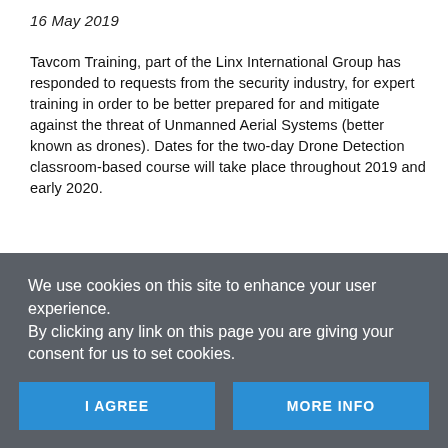16 May 2019
Tavcom Training, part of the Linx International Group has responded to requests from the security industry, for expert training in order to be better prepared for and mitigate against the threat of Unmanned Aerial Systems (better known as drones). Dates for the two-day Drone Detection classroom-based course will take place throughout 2019 and early 2020.
In late December, the UK was alerted to the impact of a drone attack, when suspected sightings resulted in 1,000 flights from Gatwick Airport being cancelled. Then, weeks later Heathrow also suffered a minor drone-related
We use cookies on this site to enhance your user experience.
By clicking any link on this page you are giving your consent for us to set cookies.
I AGREE
MORE INFO